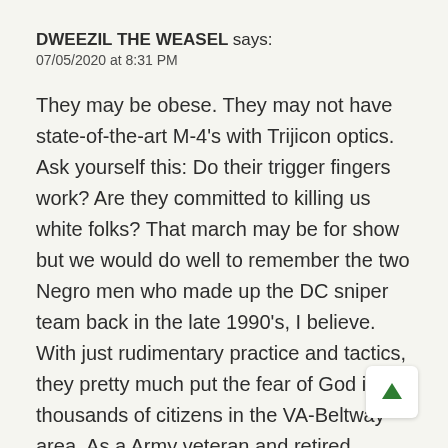DWEEZIL THE WEASEL says:
07/05/2020 at 8:31 PM
They may be obese. They may not have state-of-the-art M-4's with Trijicon optics. Ask yourself this: Do their trigger fingers work? Are they committed to killing us white folks? That march may be for show but we would do well to remember the two Negro men who made up the DC sniper team back in the late 1990's, I believe. With just rudimentary practice and tactics, they pretty much put the fear of God in thousands of citizens in the VA-Beltway area. As a Army veteran and retired Peace Officer. I have seen many out-of-shape, young, old, female, etc. become thoroughly focused and